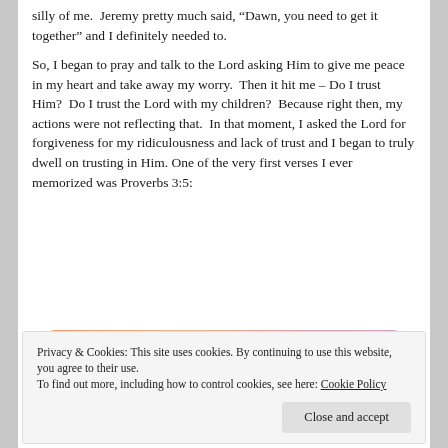silly of me.  Jeremy pretty much said, "Dawn, you need to get it together" and I definitely needed to.
So, I began to pray and talk to the Lord asking Him to give me peace in my heart and take away my worry.  Then it hit me – Do I trust Him?  Do I trust the Lord with my children?  Because right then, my actions were not reflecting that.  In that moment, I asked the Lord for forgiveness for my ridiculousness and lack of trust and I began to truly dwell on trusting in Him. One of the very first verses I ever memorized was Proverbs 3:5:
[Figure (photo): Partial view of a decorative image with warm orange and pink/purple gradient background, with a circular avatar icon and a dark rounded button visible at the bottom.]
Privacy & Cookies: This site uses cookies. By continuing to use this website, you agree to their use.
To find out more, including how to control cookies, see here: Cookie Policy